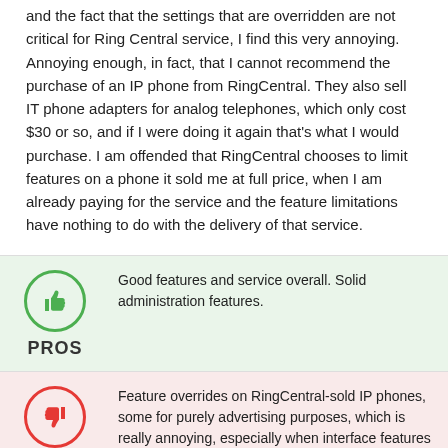and the fact that the settings that are overridden are not critical for Ring Central service, I find this very annoying. Annoying enough, in fact, that I cannot recommend the purchase of an IP phone from RingCentral. They also sell IT phone adapters for analog telephones, which only cost $30 or so, and if I were doing it again that's what I would purchase. I am offended that RingCentral chooses to limit features on a phone it sold me at full price, when I am already paying for the service and the feature limitations have nothing to do with the delivery of that service.
[Figure (infographic): PROS box with green thumbs-up icon and text: Good features and service overall. Solid administration features.]
[Figure (infographic): CONS box with red thumbs-down icon and text: Feature overrides on RingCentral-sold IP phones, some for purely advertising purposes, which is really annoying, especially when interface features of high-end (and costly) IP phones are unavailable.]